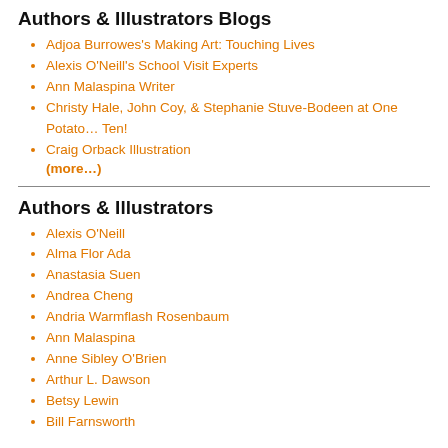Authors & Illustrators Blogs
Adjoa Burrowes's Making Art: Touching Lives
Alexis O'Neill's School Visit Experts
Ann Malaspina Writer
Christy Hale, John Coy, & Stephanie Stuve-Bodeen at One Potato… Ten!
Craig Orback Illustration
(more...)
Authors & Illustrators
Alexis O'Neill
Alma Flor Ada
Anastasia Suen
Andrea Cheng
Andria Warmflash Rosenbaum
Ann Malaspina
Anne Sibley O'Brien
Arthur L. Dawson
Betsy Lewin
Bill Farnsworth